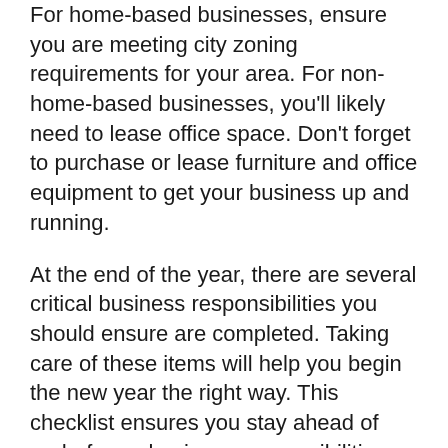For home-based businesses, ensure you are meeting city zoning requirements for your area. For non-home-based businesses, you'll likely need to lease office space. Don't forget to purchase or lease furniture and office equipment to get your business up and running.
At the end of the year, there are several critical business responsibilities you should ensure are completed. Taking care of these items will help you begin the new year the right way. This checklist ensures you stay ahead of end-of-year business responsibilities.
Step 11. Business Licenses
Check that you've obtained all appropriate business licenses and keep note of their renewal...